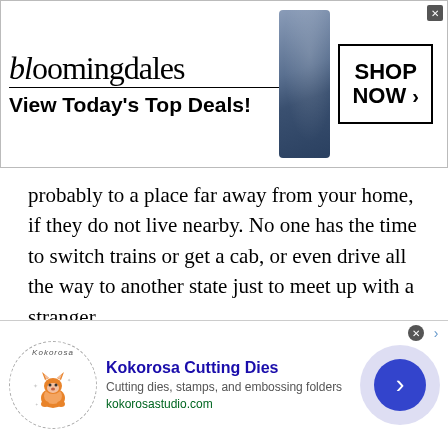[Figure (screenshot): Bloomingdale's advertisement banner. Shows 'bloomingdales' logo text, tagline 'View Today's Top Deals!', a woman wearing a large hat, and a 'SHOP NOW >' button.]
probably to a place far away from your home, if they do not live nearby. No one has the time to switch trains or get a cab, or even drive all the way to another state just to meet up with a stranger.
Travelling is not only time consuming, but it is also quite hectic and tiresome. Plus, in today’s fast paced world no one can take out the time to travel somewhere far off. It is almost impossible to clear one’s schedule for one’s own self, how would they take the time out to travel and then
[Figure (screenshot): Kokorosa Cutting Dies advertisement. Shows Kokorosa logo with a fox, title 'Kokorosa Cutting Dies', description 'Cutting dies, stamps, and embossing folders', URL 'kokorosastudio.com', and a blue arrow button.]